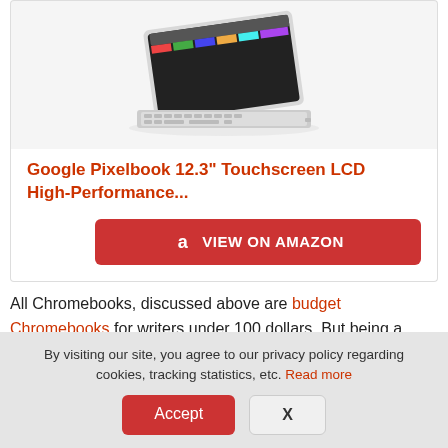[Figure (photo): Google Pixelbook laptop partially open, white/silver, showing keyboard and screen from an angle]
Google Pixelbook 12.3" Touchscreen LCD High-Performance...
VIEW ON AMAZON
All Chromebooks, discussed above are budget Chromebooks for writers under 100 dollars. But being a writer or a student, If you can afford some amount of money. Then I suggest you this premium google pixel
By visiting our site, you agree to our privacy policy regarding cookies, tracking statistics, etc. Read more
Accept
X